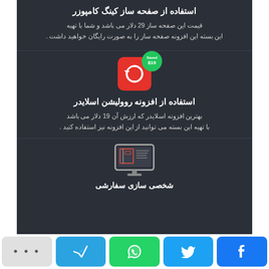استفاده از صفحه ساز کینگ کامپوزر
قیمت این صفحه ساز 29 دلار می باشد و شما با تهیه این بسته این افزونه صفحه ساز را به صورت رایگان خواهید داشت .
[Figure (logo): Revolution Slider plugin icon - red square with white refresh/sync circular arrow icon, with green Save $19 badge]
استفاده از افزونه روولیشن اسلایدر
بهترین افزونه اسلایدر که ارزش آن 19 دلار می باشد با تهیه این بسته می توانید از این افزونه نیز استفاده کنید .
[Figure (illustration): Monitor/computer screen icon showing a page builder interface]
شخصی سازی سفارشی